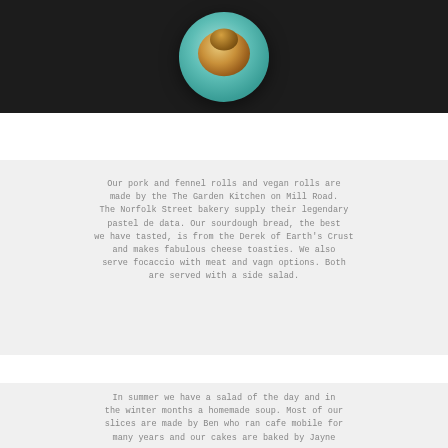[Figure (photo): Overhead shot of a pastry (pastel de nata / egg tart) on a teal/mint colored round plate, set against a dark background]
Our pork and fennel rolls and vegan rolls are made by the The Garden Kitchen on Mill Road. The Norfolk Street bakery supply their legendary pastel de data. Our sourdough bread, the best we have tasted, is from the Derek of Earth's Crust and makes fabulous cheese toasties. We also serve focaccio with meat and vagn options. Both are served with a side salad.
In summer we have a salad of the day and in the winter months a homemade soup. Most of our slices are made by Ben who ran cafe mobile for many years and our cakes are baked by Jayne